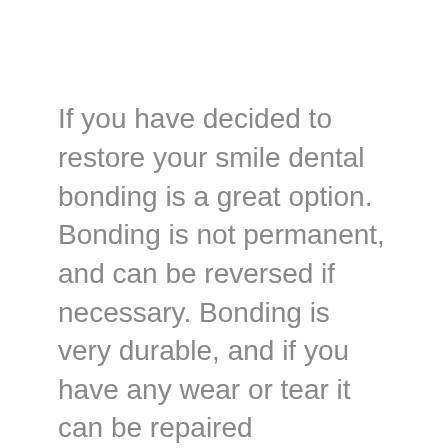If you have decided to restore your smile dental bonding is a great option. Bonding is not permanent, and can be reversed if necessary. Bonding is very durable, and if you have any wear or tear it can be repaired